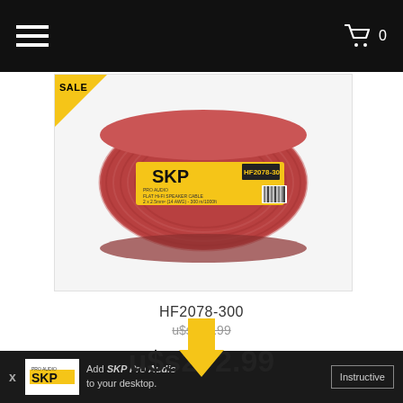Navigation bar with hamburger menu and cart icon showing 0
[Figure (photo): Red cable spool with yellow SKP Pro Audio label reading HF2078-300, flat speaker cable, with barcode. A yellow triangular SALE badge is visible in the top-left corner of the product image.]
HF2078-300
u$s199.99 (struck through original price)
u$s242.99
X  SKP  Add SKP Pro Audio to your desktop.  Instructive